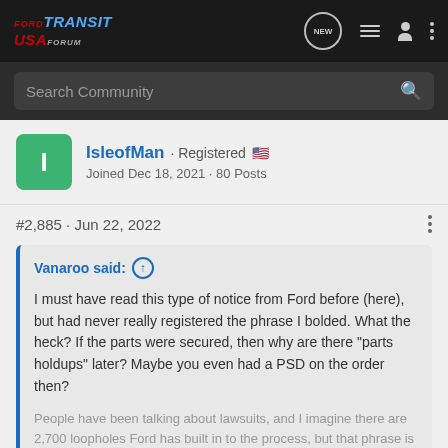Ford Transit USA Forum - Navigation bar with logo, NEW button, list icon, user icon, menu dots
Search Community
IsleofMan · Registered 🇺🇸
Joined Dec 18, 2021 · 80 Posts
#2,885 · Jun 22, 2022
Vanaroo said: ↑
I must have read this type of notice from Ford before (here), but had never really registered the phrase I bolded. What the heck? If the parts were secured, then why are there "parts holdups" later? Maybe you even had a PSD on the order then?

People have been talking about lawsuits, and I imagine there are 2,700 loopholes Ford has built in to the process, but that phrase is so
Click to expand...